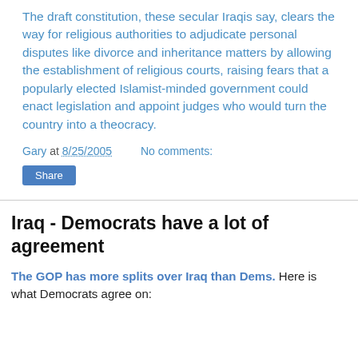The draft constitution, these secular Iraqis say, clears the way for religious authorities to adjudicate personal disputes like divorce and inheritance matters by allowing the establishment of religious courts, raising fears that a popularly elected Islamist-minded government could enact legislation and appoint judges who would turn the country into a theocracy.
Gary at 8/25/2005   No comments:
Share
Iraq - Democrats have a lot of agreement
The GOP has more splits over Iraq than Dems. Here is what Democrats agree on: